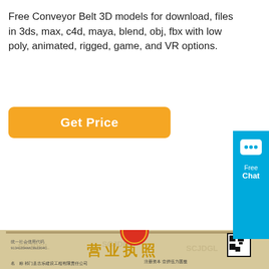Free Conveyor Belt 3D models for download, files in 3ds, max, c4d, maya, blend, obj, fbx with low poly, animated, rigged, game, and VR options.
[Figure (other): Orange 'Get Price' button]
[Figure (other): Cyan chat widget on right side showing speech bubble icon, 'Free' and 'Chat' text]
[Figure (photo): Photo of a Chinese business license certificate (营业执照) with national emblem, company details, watermark text 'SCJDGL', QR code, and red registration stamp]